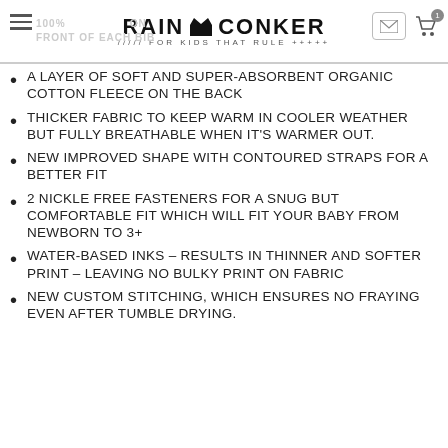Rain + Conker / For Kids That Rule
A LAYER OF SOFT AND SUPER-ABSORBENT ORGANIC COTTON FLEECE ON THE BACK
THICKER FABRIC TO KEEP WARM IN COOLER WEATHER BUT FULLY BREATHABLE WHEN IT'S WARMER OUT.
NEW IMPROVED SHAPE WITH CONTOURED STRAPS FOR A BETTER FIT
2 NICKLE FREE FASTENERS FOR A SNUG BUT COMFORTABLE FIT WHICH WILL FIT YOUR BABY FROM NEWBORN TO 3+
WATER-BASED INKS – RESULTS IN THINNER AND SOFTER PRINT – LEAVING NO BULKY PRINT ON FABRIC
NEW CUSTOM STITCHING, WHICH ENSURES NO FRAYING EVEN AFTER TUMBLE DRYING.